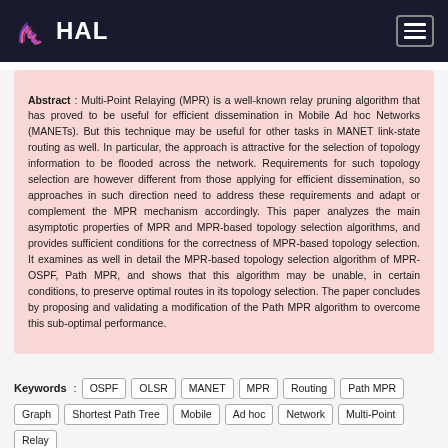HAL
Abstract : Multi-Point Relaying (MPR) is a well-known relay pruning algorithm that has proved to be useful for efficient dissemination in Mobile Ad hoc Networks (MANETs). But this technique may be useful for other tasks in MANET link-state routing as well. In particular, the approach is attractive for the selection of topology information to be flooded across the network. Requirements for such topology selection are however different from those applying for efficient dissemination, so approaches in such direction need to address these requirements and adapt or complement the MPR mechanism accordingly. This paper analyzes the main asymptotic properties of MPR and MPR-based topology selection algorithms, and provides sufficient conditions for the correctness of MPR-based topology selection. It examines as well in detail the MPR-based topology selection algorithm of MPR-OSPF, Path MPR, and shows that this algorithm may be unable, in certain conditions, to preserve optimal routes in its topology selection. The paper concludes by proposing and validating a modification of the Path MPR algorithm to overcome this sub-optimal performance.
Keywords : OSPF OLSR MANET MPR Routing Path MPR Graph Shortest Path Tree Mobile Ad hoc Network Multi-Point Relay